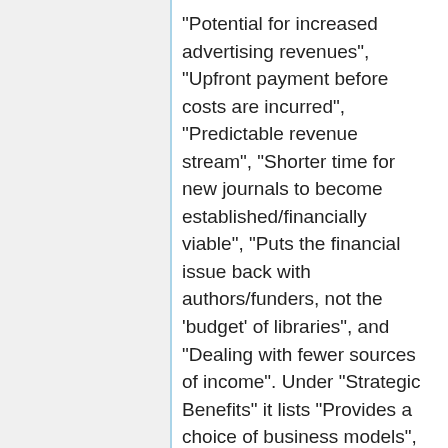"Potential for increased advertising revenues", "Upfront payment before costs are incurred", "Predictable revenue stream", "Shorter time for new journals to become established/financially viable", "Puts the financial issue back with authors/funders, not the 'budget' of libraries", and "Dealing with fewer sources of income". Under "Strategic Benefits" it lists "Provides a choice of business models", "Allows exploration of alternative pricing models", "More opportunities for publishers to add value, including to content originating from other sources", "Aligns publishers with the stated aims of funders and universities",